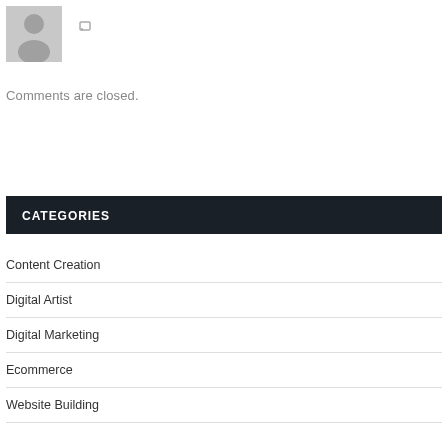[Figure (illustration): Default user avatar silhouette in gray, with a reply/edit icon to the right]
Comments are closed.
CATEGORIES
Content Creation
Digital Artist
Digital Marketing
Ecommerce
Website Building